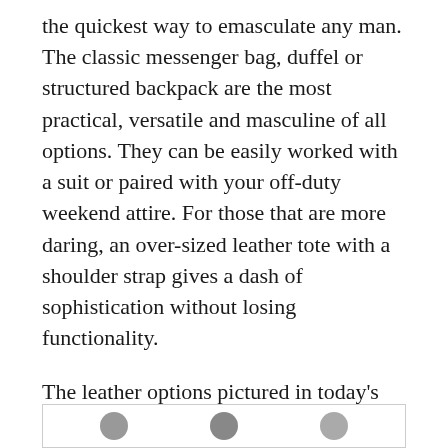the quickest way to emasculate any man. The classic messenger bag, duffel or structured backpack are the most practical, versatile and masculine of all options. They can be easily worked with a suit or paired with your off-duty weekend attire. For those that are more daring, an over-sized leather tote with a shoulder strap gives a dash of sophistication without losing functionality.
The leather options pictured in today's post are some of the more common styles I've seen on the streets. I love the look of worn out leather, each scratch or fold tells a story, it's an indication of a much loved accessory.
Get this look:
[Figure (other): Bottom partial image strip showing circular icons/product images, partially cut off at bottom of page.]